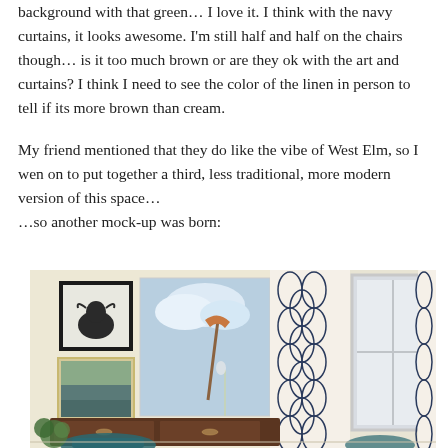background with that green… I love it. I think with the navy curtains, it looks awesome. I'm still half and half on the chairs though… is it too much brown or are they ok with the art and curtains? I think I need to see the color of the linen in person to tell if its more brown than cream.
My friend mentioned that they do like the vibe of West Elm, so I wen on to put together a third, less traditional, more modern version of this space… …so another mock-up was born:
[Figure (illustration): Interior design mood board / room mockup showing a living room vignette with framed wall art (black and white bull photo and landscape painting), a large blue-sky painting, a bronze floor lamp, navy geometric patterned curtains, a window with white trim, a dark wood credenza, teal velvet chairs, and green plant accents on a cream/beige background.]